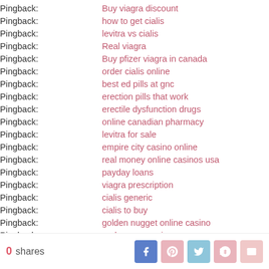Pingback: Buy viagra discount
Pingback: how to get cialis
Pingback: levitra vs cialis
Pingback: Real viagra
Pingback: Buy pfizer viagra in canada
Pingback: order cialis online
Pingback: best ed pills at gnc
Pingback: erection pills that work
Pingback: erectile dysfunction drugs
Pingback: online canadian pharmacy
Pingback: levitra for sale
Pingback: empire city casino online
Pingback: real money online casinos usa
Pingback: payday loans
Pingback: viagra prescription
Pingback: cialis generic
Pingback: cialis to buy
Pingback: golden nugget online casino
Pingback: real money casino games
Pingback: casino online real money
Pingback: discount viagra
0 shares